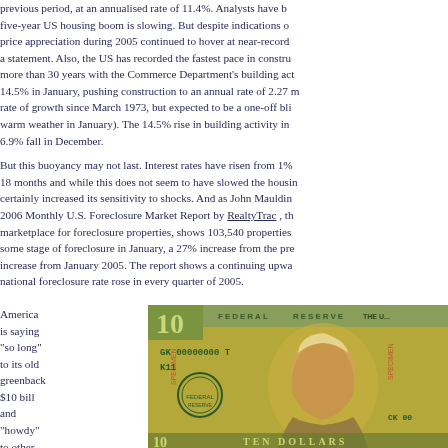previous period, at an annualised rate of 11.4%. Analysts have been warning that the five-year US housing boom is slowing. But despite indications of a slowdown, house price appreciation during 2005 continued to hover at near-record levels, according to a statement. Also, the US has recorded the fastest pace in construction activity in more than 30 years with the Commerce Department's building activity jumping by 14.5% in January, pushing construction to an annual rate of 2.27 m units, the strongest rate of growth since March 1973, but expected to be a one-off blip (caused by unusually warm weather in January). The 14.5% rise in building activity in January contrasted with a 6.9% fall in December.
But this buoyancy may not last. Interest rates have risen from 1% to 4.5% in the past 18 months and while this does not seem to have slowed the housing market, it has certainly increased its sensitivity to shocks. And as John Mauldin points out, the January 2006 Monthly U.S. Foreclosure Market Report by RealtyTrac , the online marketplace for foreclosure properties, shows 103,540 properties nationwide that were in some stage of foreclosure in January, a 27% increase from the previous month and a 45% increase from January 2005. The report shows a continuing upward trend as the national foreclosure rate rose in every quarter of 2005.
America is saying "so long" to its old greenback $10 bill and "howdy" to other colours
[Figure (photo): Close-up photograph of a US Federal Reserve $10 bill specimen showing serial number GK 00000000 T, K11, with portrait of Alexander Hamilton. The bill is marked SPECIMEN in red.]